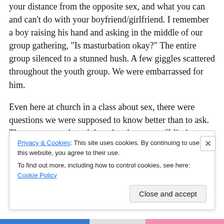your distance from the opposite sex, and what you can and can't do with your boyfriend/girlfriend. I remember a boy raising his hand and asking in the middle of our group gathering, “Is masturbation okay?” The entire group silenced to a stunned hush. A few giggles scattered throughout the youth group. We were embarrassed for him.
Even here at church in a class about sex, there were questions we were supposed to know better than to ask. There were words and thoughts that were off-limits entirely. He had said a bad word and that was wrong.
Privacy & Cookies: This site uses cookies. By continuing to use this website, you agree to their use.
To find out more, including how to control cookies, see here: Cookie Policy